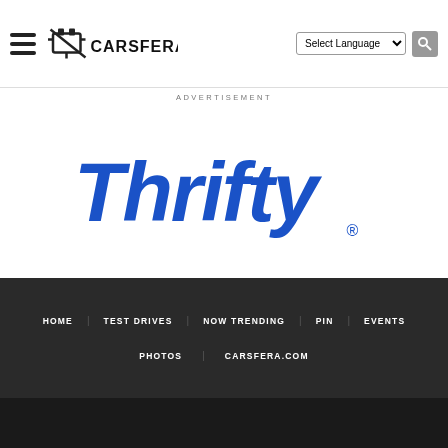Carsfera - navigation header with hamburger menu, logo, language selector, and search icon
ADVERTISEMENT
[Figure (logo): Thrifty car rental logo in blue bold italic lettering with registered trademark symbol]
HOME | TEST DRIVES | NOW TRENDING | PIN | EVENTS | PHOTOS | CARSFERA.COM